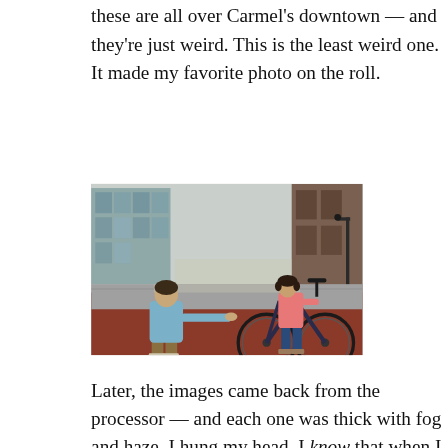these are all over Carmel's downtown — and they're just weird. This is the least weird one. It made my favorite photo on the roll.
[Figure (photo): A person in a light blue shirt and khaki pants leans forward to help a young girl in a pink top and jeans who is sitting on a bicycle. They are in an outdoor urban area with red mulch ground cover, a street, and modern brick buildings in the background.]
Later, the images came back from the processor — and each one was thick with fog and haze. I hung my head. I know that when I get an old fixed-lens camera of unknown provenance, I need to inspect the lens before putting film into it. Half the